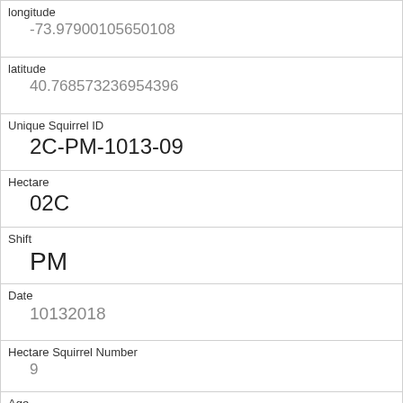| longitude | -73.97900105650108 |
| latitude | 40.768573236954396 |
| Unique Squirrel ID | 2C-PM-1013-09 |
| Hectare | 02C |
| Shift | PM |
| Date | 10132018 |
| Hectare Squirrel Number | 9 |
| Age | Adult |
| Primary Fur Color |  |
| Highlight Fur Color |  |
| Combination of Primary and Highlight Color |  |